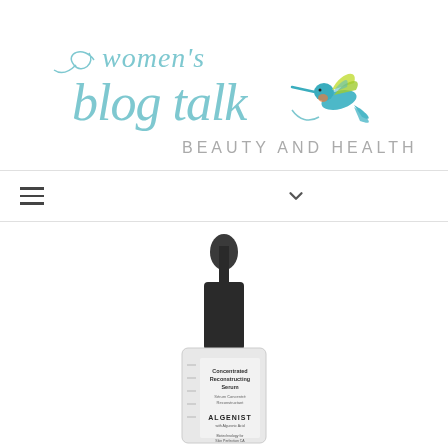[Figure (logo): Women's Blog Talk - Beauty and Health logo with cursive blue-teal text and a hummingbird illustration]
[Figure (screenshot): Navigation bar with hamburger menu icon, share icon, chevron/dropdown icon, and search icon]
[Figure (photo): Algenist Concentrated Reconstructing Serum product bottle with dropper cap]